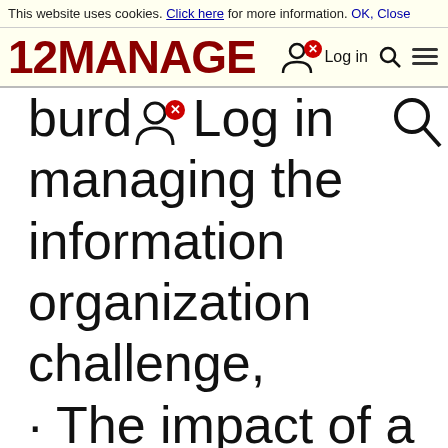This website uses cookies. Click here for more information. OK, Close
[Figure (logo): 12MANAGE logo in dark red bold text, with hamburger menu icon on the right and user/login icons]
burden of managing the information organization challenge,
· The impact of a